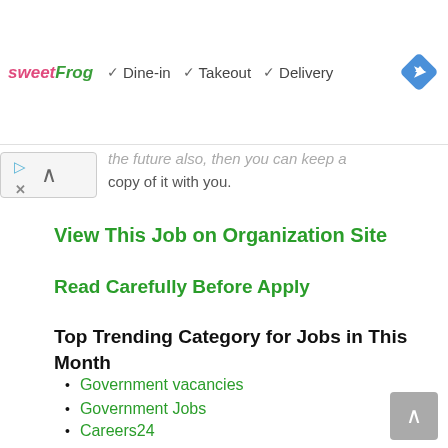[Figure (screenshot): Ad banner with sweetFrog logo, checkmarks for Dine-in, Takeout, Delivery, and a blue navigation diamond icon. Below the banner on the left: a play icon, an X icon, and an up-arrow scroll button.]
the future also, then you can keep a copy of it with you.
View This Job on Organization Site
Read Carefully Before Apply
Top Trending Category for Jobs in This Month
Government vacancies
Government Jobs
Careers24
Company jobs.
Bank Vacancies